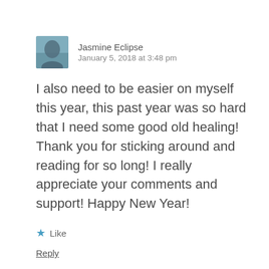[Figure (photo): Small avatar photo of Jasmine Eclipse — a person silhouetted against a blue sky/water background]
Jasmine Eclipse
January 5, 2018 at 3:48 pm
I also need to be easier on myself this year, this past year was so hard that I need some good old healing! Thank you for sticking around and reading for so long! I really appreciate your comments and support! Happy New Year!
★ Like
Reply